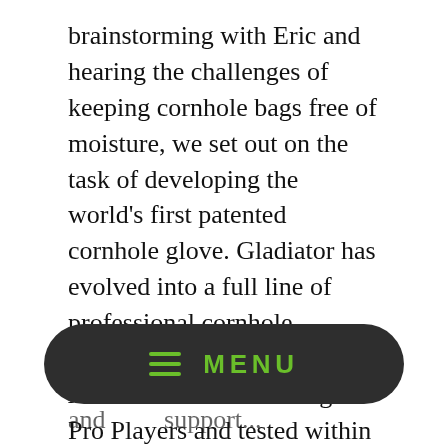brainstorming with Eric and hearing the challenges of keeping cornhole bags free of moisture, we set out on the task of developing the world's first patented cornhole glove. Gladiator has evolved into a full line of professional cornhole equipment developed by American Cornhole League Pro Players and tested within the ACL player community.
Since our inception we have overcome many challenges while bringing the cornhole community revolutionary products for the sport. We aim to offer our customers a variety of the latest professional cornhole equipment at an
[Figure (other): Dark rounded rectangle menu bar with hamburger icon and MENU text in green]
and readily support...